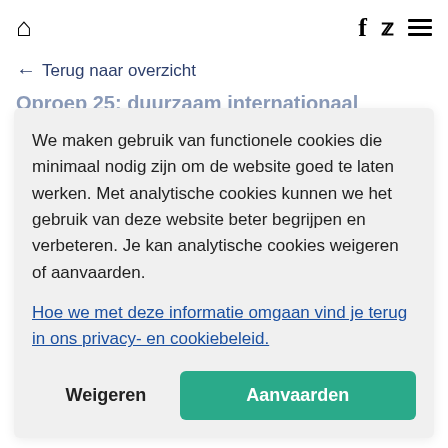🏠  f  🐦  ≡
← Terug naar overzicht
We maken gebruik van functionele cookies die minimaal nodig zijn om de website goed te laten werken. Met analytische cookies kunnen we het gebruik van deze website beter begrijpen en verbeteren. Je kan analytische cookies weigeren of aanvaarden.

Hoe we met deze informatie omgaan vind je terug in ons privacy- en cookiebeleid.
Weigeren | Aanvaarden